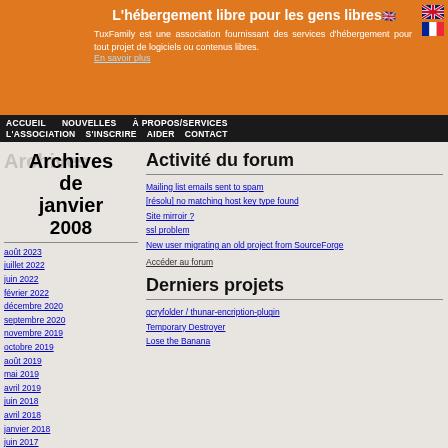L'hébergement libre pour les gens libres
TuxFamily est une association fournissant des services d'hébergement pour tout projet de logiciels ou contenus libres.
En savoir plus
ACCUEIL  NOUVELLES  À PROPOS/SERVICES  L'ASSOCIATION  S'INSCRIRE  AIDER  CONTACT
Archives de janvier 2008
août 2023
juillet 2022
juin 2022
février 2022
décembre 2020
septembre 2020
novembre 2019
octobre 2019
août 2019
mai 2019
avril 2019
juin 2018
avril 2018
janvier 2018
juin 2017
Activité du forum
Mailing list emails sent to spam
[résolu] no matching host key type found
Site mirroir ?
ssl problem
New user migrating an old project from SourceForge
Accéder au forum
Derniers projets
gcryfolder / thunar-encription-plugin
Temporary Destroyer
Lose the Banana